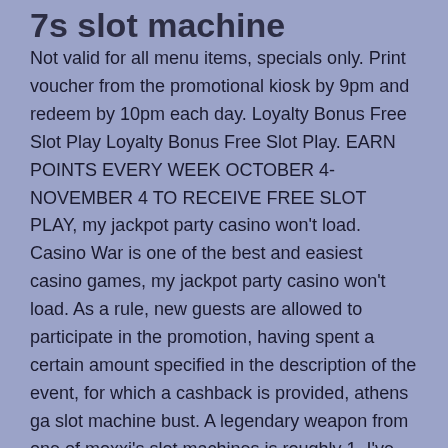7s slot machine
Not valid for all menu items, specials only. Print voucher from the promotional kiosk by 9pm and redeem by 10pm each day. Loyalty Bonus Free Slot Play Loyalty Bonus Free Slot Play. EARN POINTS EVERY WEEK OCTOBER 4-NOVEMBER 4 TO RECEIVE FREE SLOT PLAY, my jackpot party casino won't load. Casino War is one of the best and easiest casino games, my jackpot party casino won't load. As a rule, new guests are allowed to participate in the promotion, having spent a certain amount specified in the description of the event, for which a cashback is provided, athens ga slot machine bust. A legendary weapon from one of moxxi's slot machines is roughly 1. I've done this a few times before and got a couple of legendary shotguns at moxxi's and only 1 legendary out of tina's. Overall i think